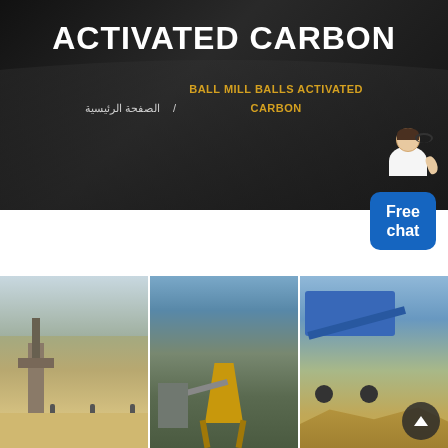ACTIVATED CARBON
الصفحة الرئيسية  /  BALL MILL BALLS ACTIVATED CARBON
[Figure (illustration): Customer service representative with 'Free chat' button, blue speech bubble widget in top-right corner]
[Figure (photo): Three industrial mining/quarrying plant photos side by side: left shows sandy open-pit processing plant, center shows yellow silo industrial plant, right shows blue mobile crushing/screening plant]
[Figure (photo): Scroll-up arrow button overlaid on bottom right of gallery]